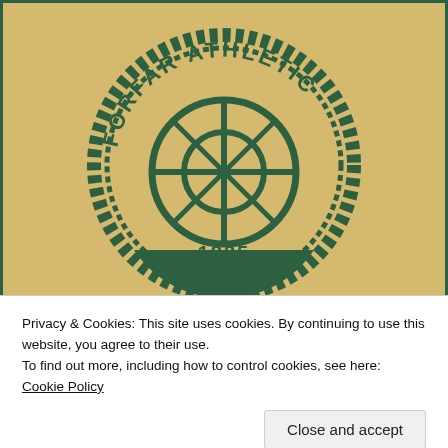[Figure (logo): Forfar Athletic football club badge/crest on a tan/kraft paper background with dark green border. The circular badge shows 'FORFAR ATHLETIC' text around the top arc and '1885' at the bottom, with a circular geometric design in the center resembling a wheel or globe, all in dark green on tan background.]
Privacy & Cookies: This site uses cookies. By continuing to use this website, you agree to their use.
To find out more, including how to control cookies, see here: Cookie Policy
Close and accept